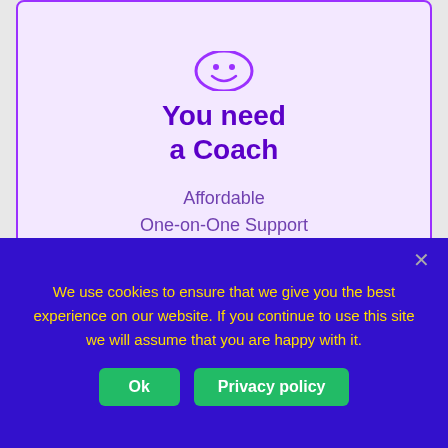[Figure (illustration): Advertisement card with purple border on lavender background. Shows a face icon at top, bold text 'You need a Coach', and subtitle 'Affordable One-on-One Support'.]
REDDIT – /R/UKFINANCEOVER30
Mining Credit Card Data for Stock Returns - Alpha Architect
[Figure (screenshot): Thumbnail image of a data table from Alpha Architect article on mining credit card data for stock returns.]
We use cookies to ensure that we give you the best experience on our website. If you continue to use this site we will assume that you are happy with it.